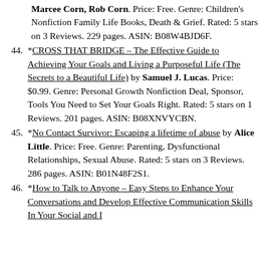Marcee Corn, Rob Corn. Price: Free. Genre: Children's Nonfiction Family Life Books, Death & Grief. Rated: 5 stars on 3 Reviews. 229 pages. ASIN: B08W4BJD6F.
44. *CROSS THAT BRIDGE – The Effective Guide to Achieving Your Goals and Living a Purposeful Life (The Secrets to a Beautiful Life) by Samuel J. Lucas. Price: $0.99. Genre: Personal Growth Nonfiction Deal, Sponsor, Tools You Need to Set Your Goals Right. Rated: 5 stars on 1 Reviews. 201 pages. ASIN: B08XNVYCBN.
45. *No Contact Survivor: Escaping a lifetime of abuse by Alice Little. Price: Free. Genre: Parenting, Dysfunctional Relationships, Sexual Abuse. Rated: 5 stars on 3 Reviews. 286 pages. ASIN: B01N48F2S1.
46. *How to Talk to Anyone – Easy Steps to Enhance Your Conversations and Develop Effective Communication Skills In Your Social and I...